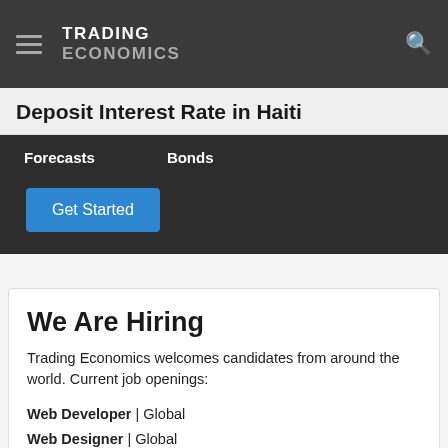TRADING ECONOMICS
Deposit Interest Rate in Haiti
Forecasts    Bonds
Get Started
We Are Hiring
Trading Economics welcomes candidates from around the world. Current job openings:
Web Developer | Global
Web Designer | Global
Data Analyst | America